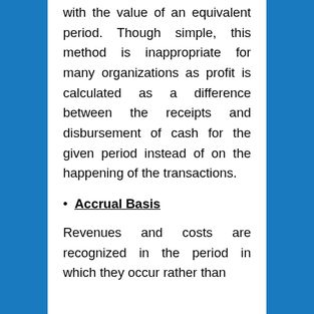with the value of an equivalent period. Though simple, this method is inappropriate for many organizations as profit is calculated as a difference between the receipts and disbursement of cash for the given period instead of on the happening of the transactions.
Accrual Basis
Revenues and costs are recognized in the period in which they occur rather than